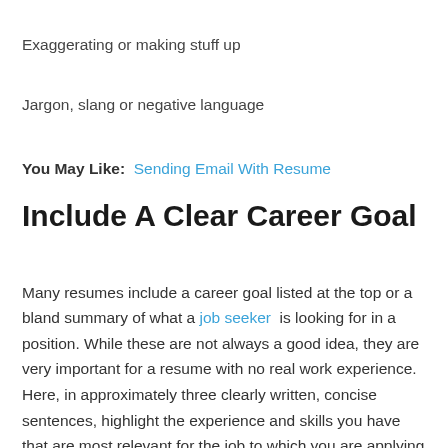Exaggerating or making stuff up
Jargon, slang or negative language
You May Like:  Sending Email With Resume
Include A Clear Career Goal
Many resumes include a career goal listed at the top or a bland summary of what a job seeker is looking for in a position. While these are not always a good idea, they are very important for a resume with no real work experience.
Here, in approximately three clearly written, concise sentences, highlight the experience and skills you have that are most relevant for the job to which you are applying and